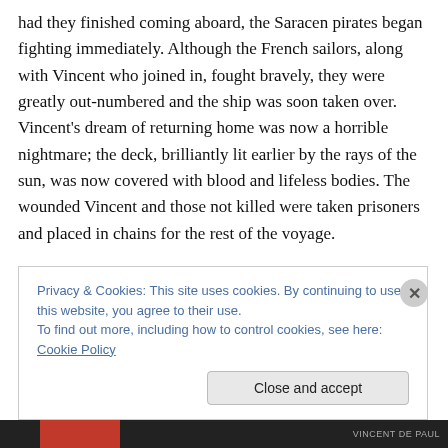had they finished coming aboard, the Saracen pirates began fighting immediately. Although the French sailors, along with Vincent who joined in, fought bravely, they were greatly out-numbered and the ship was soon taken over. Vincent's dream of returning home was now a horrible nightmare; the deck, brilliantly lit earlier by the rays of the sun, was now covered with blood and lifeless bodies. The wounded Vincent and those not killed were taken prisoners and placed in chains for the rest of the voyage.
Privacy & Cookies: This site uses cookies. By continuing to use this website, you agree to their use. To find out more, including how to control cookies, see here: Cookie Policy
Close and accept